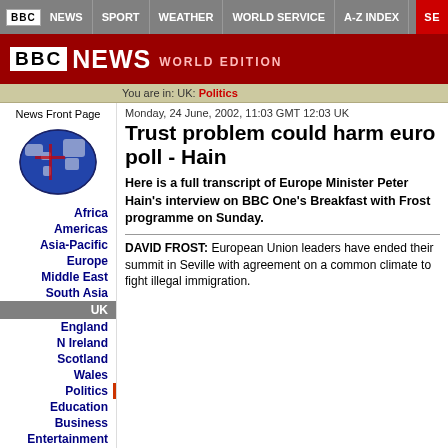BBC | NEWS | SPORT | WEATHER | WORLD SERVICE | A-Z INDEX | SE
BBC NEWS WORLD EDITION
You are in: UK: Politics
Monday, 24 June, 2002, 11:03 GMT 12:03 UK
Trust problem could harm euro poll - Hain
News Front Page
Africa
Americas
Asia-Pacific
Europe
Middle East
South Asia
UK
England
N Ireland
Scotland
Wales
Politics
Education
Business
Entertainment
Science/Nature
Technology
Health
Here is a full transcript of Europe Minister Peter Hain's interview on BBC One's Breakfast with Frost programme on Sunday.
DAVID FROST: European Union leaders have ended their summit in Seville with agreement on a common climate to fight illegal immigration.